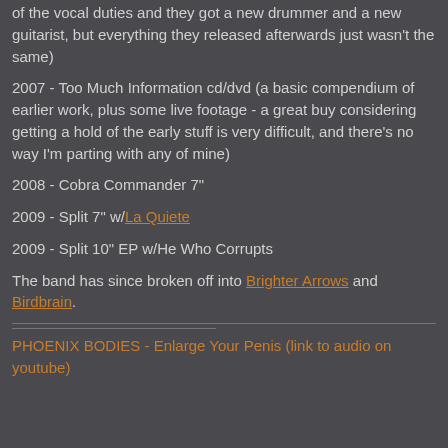of the vocal duties and they got a new drummer and a new guitarist, but everything they released afterwards just wasn't the same)
2007 - Too Much Information cd/dvd (a basic compendium of earlier work, plus some live footage - a great buy considering getting a hold of the early stuff is very difficult, and there's no way I'm parting with any of mine)
2008 - Cobra Commander 7"
2009 - Split 7" w/La Quiete
2009 - Split 10" EP w/He Who Corrupts
The band has since broken off into Brighter Arrows and Birdbrain.
PHOENIX BODIES - Enlarge Your Penis (link to audio on youtube)